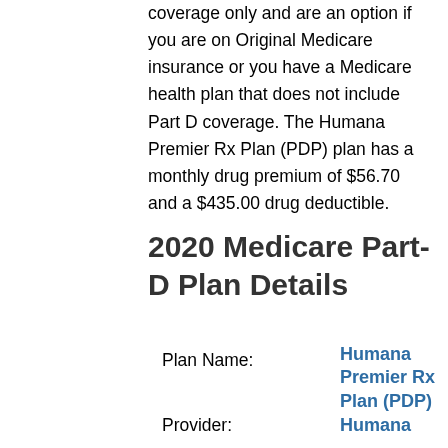coverage only and are an option if you are on Original Medicare insurance or you have a Medicare health plan that does not include Part D coverage. The Humana Premier Rx Plan (PDP) plan has a monthly drug premium of $56.70 and a $435.00 drug deductible.
2020 Medicare Part-D Plan Details
Plan Name:
Humana Premier Rx Plan (PDP)
Provider:
Humana